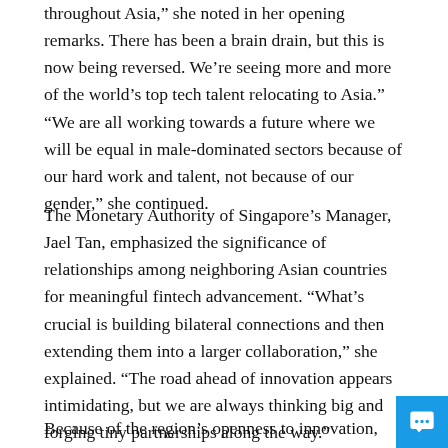throughout Asia,” she noted in her opening remarks. There has been a brain drain, but this is now being reversed. We’re seeing more and more of the world’s top tech talent relocating to Asia.” “We are all working towards a future where we will be equal in male-dominated sectors because of our hard work and talent, not because of our gender,” she continued.
The Monetary Authority of Singapore’s Manager, Jael Tan, emphasized the significance of relationships among neighboring Asian countries for meaningful fintech advancement. “What’s crucial is building bilateral connections and then extending them into a larger collaboration,” she explained. “The road ahead of innovation appears intimidating, but we are always thinking big and forging tiny partnerships along the way.”
Because of the region’s openness to innovation, transparency in regulation, and the possibility of building products with